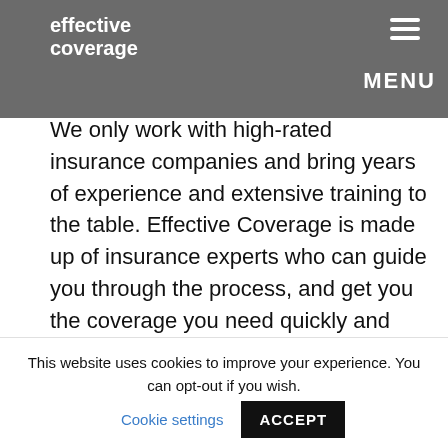effective coverage | MENU
Effective Coverage was built to help renters get the coverage they deserve. We only work with high-rated insurance companies and bring years of experience and extensive training to the table. Effective Coverage is made up of insurance experts who can guide you through the process, and get you the coverage you need quickly and efficiently. Just call (800)892-4308 or click to get covered - whether you need renters insurance quotes online or coverage anywhere else!
Effective Coverage offers the nation's only completely mobile platform to quote and purchase renters
This website uses cookies to improve your experience. You can opt-out if you wish. Cookie settings ACCEPT